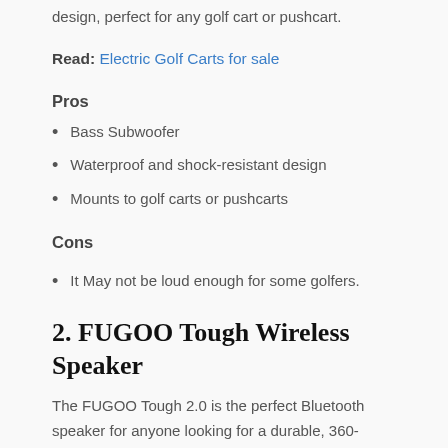design, perfect for any golf cart or pushcart.
Read: Electric Golf Carts for sale
Pros
Bass Subwoofer
Waterproof and shock-resistant design
Mounts to golf carts or pushcarts
Cons
It May not be loud enough for some golfers.
2. FUGOO Tough Wireless Speaker
The FUGOO Tough 2.0 is the perfect Bluetooth speaker for anyone looking for a durable, 360-degree sound experience. The speaker is 100% waterproof,